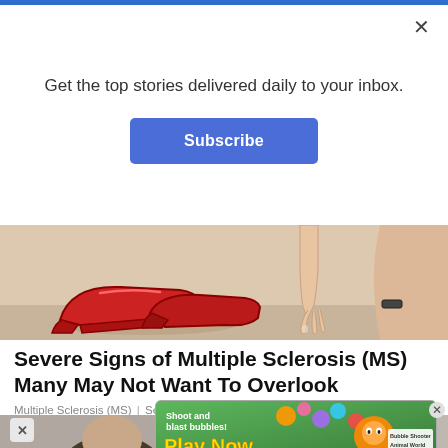Get the top stories delivered daily to your inbox.
Subscribe
[Figure (illustration): Cartoon illustration of red high-heeled shoes and a hand reaching down near them, on a light beige background]
Severe Signs of Multiple Sclerosis (MS) Many May Not Want To Overlook
Multiple Sclerosis (MS) | Search Ads | Sponsored
[Figure (photo): Two people photographed side by side, showing tops of heads with dark hair]
[Figure (infographic): Game advertisement banner: 'Shoot and blast bubbles! Play Now - Bubble Shooter Animal World']